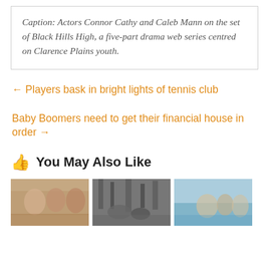Caption: Actors Connor Cathy and Caleb Mann on the set of Black Hills High, a five-part drama web series centred on Clarence Plains youth.
← Players bask in bright lights of tennis club
Baby Boomers need to get their financial house in order →
You May Also Like
[Figure (photo): Three thumbnail photos side by side: first shows people at a social gathering with warm tones, second is a black-and-white photo of people in a wooded area, third shows people outdoors near water.]